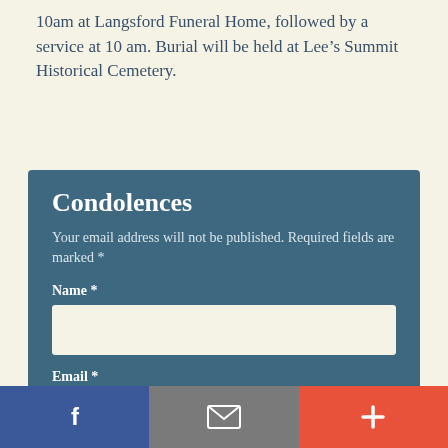10am at Langsford Funeral Home, followed by a service at 10 am. Burial will be held at Lee's Summit Historical Cemetery.
Condolences
Your email address will not be published. Required fields are marked *
Name *
Email *
Facebook | Email | More